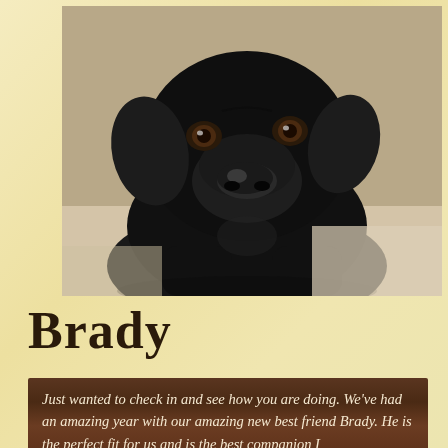[Figure (photo): Close-up photo of a black Labrador Retriever dog looking at the camera, photographed indoors on a light-colored floor]
Brady
Just wanted to check in and see how you are doing. We've had an amazing year with our amazing new best friend Brady. He is the perfect fit for us and is the best companion I